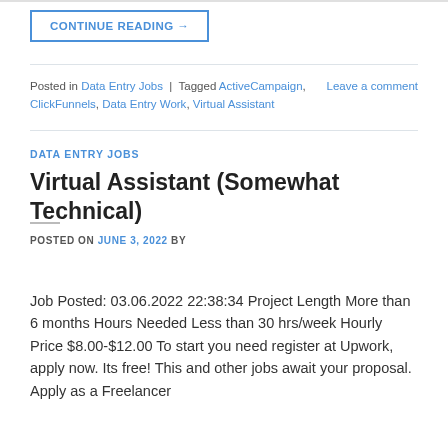CONTINUE READING →
Posted in Data Entry Jobs | Tagged ActiveCampaign, ClickFunnels, Data Entry Work, Virtual Assistant   Leave a comment
DATA ENTRY JOBS
Virtual Assistant (Somewhat Technical)
POSTED ON JUNE 3, 2022 BY
Job Posted: 03.06.2022 22:38:34 Project Length More than 6 months Hours Needed Less than 30 hrs/week Hourly Price $8.00-$12.00 To start you need register at Upwork, apply now. Its free! This and other jobs await your proposal. Apply as a Freelancer